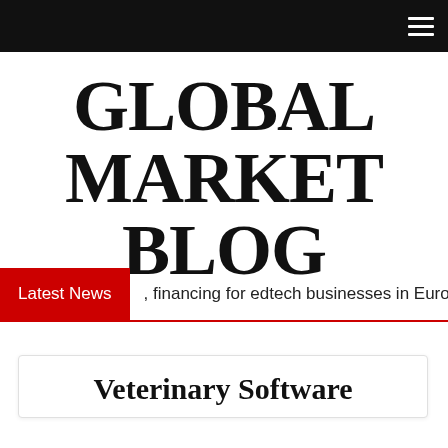≡
GLOBAL MARKET BLOG
Latest News  , financing for edtech businesses in Euro
Veterinary Software